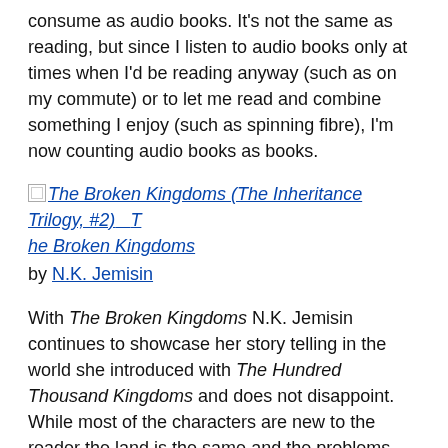consume as audio books. It's not the same as reading, but since I listen to audio books only at times when I'd be reading anyway (such as on my commute) or to let me read and combine something I enjoy (such as spinning fibre), I'm now counting audio books as books.
[image] The Broken Kingdoms (The Inheritance Trilogy, #2) The Broken Kingdoms by N.K. Jemisin
With The Broken Kingdoms N.K. Jemisin continues to showcase her story telling in the world she introduced with The Hundred Thousand Kingdoms and does not disappoint. While most of the characters are new to the reader the land is the same and the problems introduced are well.. godlings shouldn't die right?
oh i give up. it's quite hard to review this series without introducing spoilers. go read it. go read The Hundred